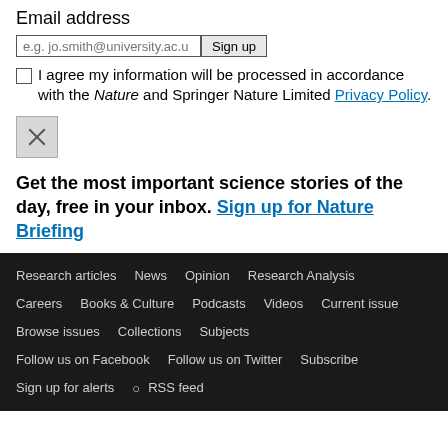Email address
e.g. jo.smith@university.ac.u  [Sign up button]
I agree my information will be processed in accordance with the Nature and Springer Nature Limited Privacy Policy.
[Figure (other): Close/dismiss button (X)]
Get the most important science stories of the day, free in your inbox. Sign up for Nature Briefing
Research articles  News  Opinion  Research Analysis  Careers  Books & Culture  Podcasts  Videos  Current issue  Browse issues  Collections  Subjects  Follow us on Facebook  Follow us on Twitter  Subscribe  Sign up for alerts  RSS feed